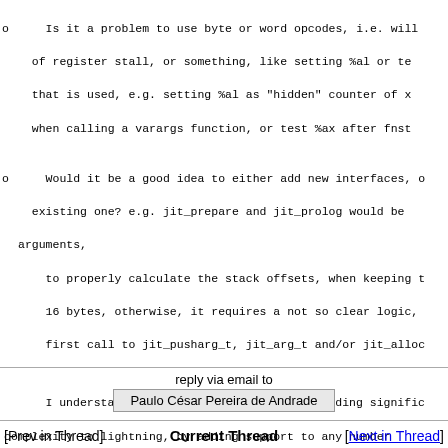o Is it a problem to use byte or word opcodes, i.e. will of register stall, or something, like setting %al or te that is used, e.g. setting %al as "hidden" counter of x when calling a varargs function, or test %ax after fnst
o Would it be a good idea to either add new interfaces, o existing one? e.g. jit_prepare and jit_prolog would be arguments,
   to properly calculate the stack offsets, when keeping t 16 bytes, otherwise, it requires a not so clear logic, first call to jit_pusharg_t, jit_arg_t and/or jit_alloc
I understand that, to some extent, I am adding signific complexity to lightning, by adding support to any number for example. Maybe I am wanting too much of it :-) But my to have it as a framework for jit generation of dynamical languages, while still providing solid support for static ones...
Thanks,
Paulo
reply via email to
Paulo César Pereira de Andrade
[Prev in Thread]  Current Thread  [Next in Thread]